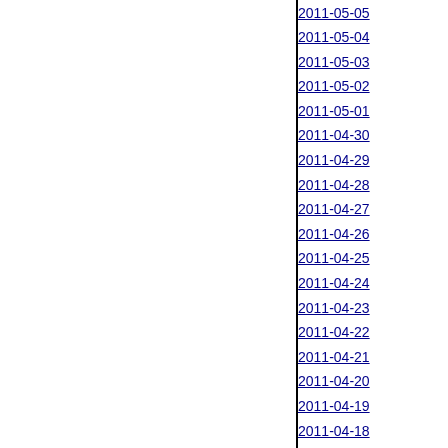2011-05-05
2011-05-04
2011-05-03
2011-05-02
2011-05-01
2011-04-30
2011-04-29
2011-04-28
2011-04-27
2011-04-26
2011-04-25
2011-04-24
2011-04-23
2011-04-22
2011-04-21
2011-04-20
2011-04-19
2011-04-18
2011-04-17
2011-04-16
2011-04-15
2011-04-14
2011-04-13
2011-04-12
2011-04-11
2011-04-10
2011-04-09
2011-04-08
2011-04-07
2011-04-06